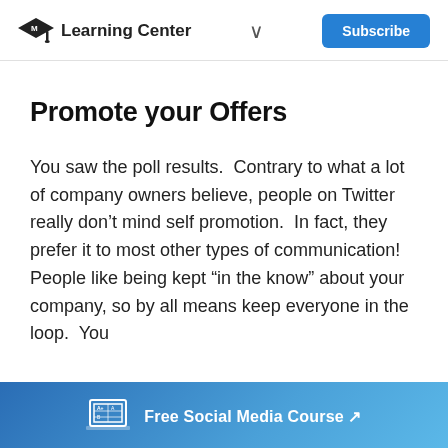Learning Center  Subscribe
Promote your Offers
You saw the poll results.  Contrary to what a lot of company owners believe, people on Twitter really don’t mind self promotion.  In fact, they prefer it to most other types of communication!  People like being kept “in the know” about your company, so by all means keep everyone in the loop.  You
Free Social Media Course ↗